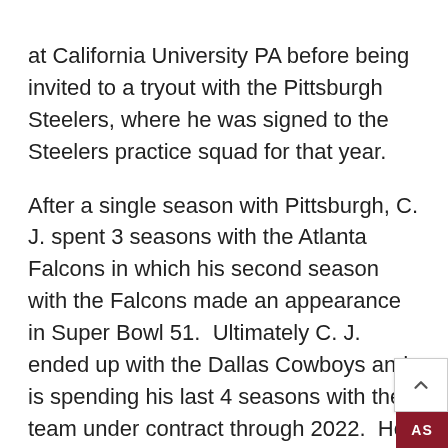at California University PA before being invited to a tryout with the Pittsburgh Steelers, where he was signed to the Steelers practice squad for that year.
After a single season with Pittsburgh, C. J. spent 3 seasons with the Atlanta Falcons in which his second season with the Falcons made an appearance in Super Bowl 51.  Ultimately C. J. ended up with the Dallas Cowboys and is spending his last 4 seasons with the team under contract through 2022.  He is entering his 9th season in the NFL. C. J.'s words of wisdom, "Take advantage of opportunities presented to you...be a good person...when you communicate with people, they want to help you."